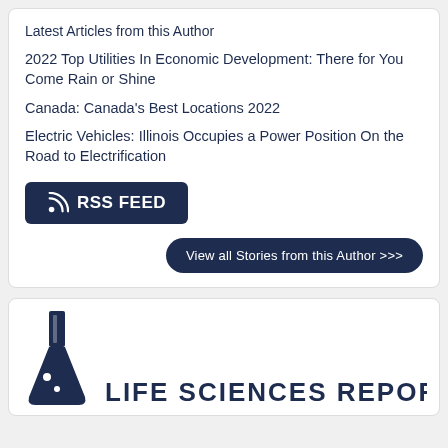Latest Articles from this Author
2022 Top Utilities In Economic Development: There for You Come Rain or Shine
Canada: Canada's Best Locations 2022
Electric Vehicles: Illinois Occupies a Power Position On the Road to Electrification
[Figure (other): RSS FEED button with RSS icon]
[Figure (other): View all Stories from this Author >>> button]
[Figure (logo): Life Sciences Report logo with flask icon and text LIFE SCIENCES REPORT]